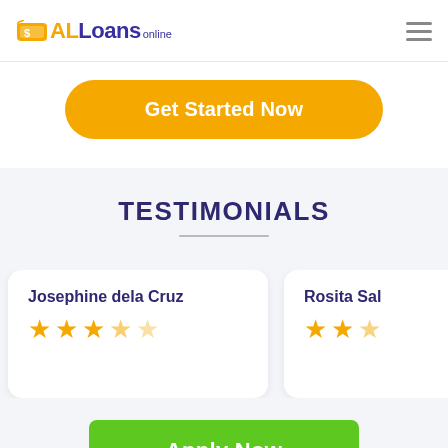[Figure (logo): ALLoans online logo with orange dollar icon and purple/orange text]
[Figure (other): Hamburger menu icon (three horizontal lines)]
Get Started Now
TESTIMONIALS
Josephine dela Cruz
★★★★☆ (4 stars)
Rosita Sal...
★★★☆ (partial stars visible)
Apply Now
Applying does NOT affect your credit score!
No credit check to apply.